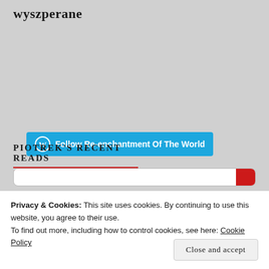wyszperane
[Figure (other): WordPress Follow button: Follow Re-enchantment Of The World]
PIOTREK'S RECENT READS
Privacy & Cookies: This site uses cookies. By continuing to use this website, you agree to their use.
To find out more, including how to control cookies, see here: Cookie Policy
Close and accept